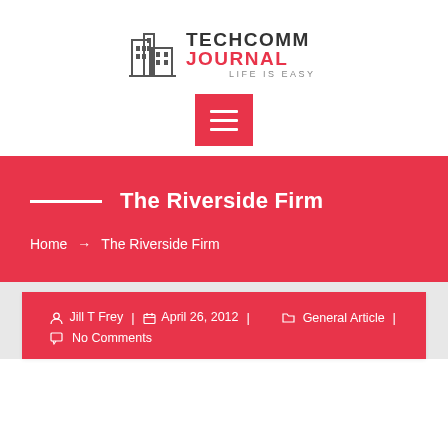[Figure (logo): TechComm Journal logo with building icon and tagline LIFE IS EASY]
[Figure (other): Red square hamburger/menu button with three white horizontal lines]
The Riverside Firm
Home → The Riverside Firm
Jill T Frey | April 26, 2012 | General Article | No Comments